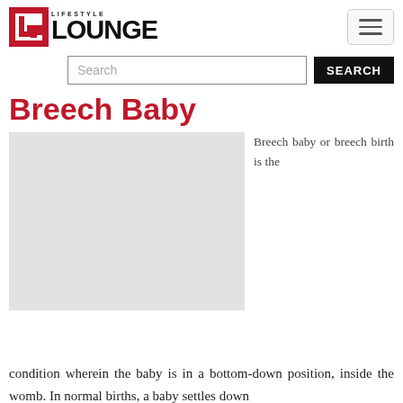[Figure (logo): Lifestyle Lounge logo with red L box and bold LOUNGE text]
Search
Breech Baby
[Figure (photo): Image placeholder for breech baby article]
Breech baby or breech birth is the
condition wherein the baby is in a bottom-down position, inside the womb. In normal births, a baby settles down